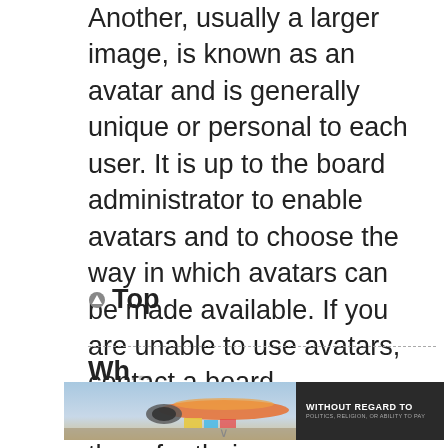Another, usually a larger image, is known as an avatar and is generally unique or personal to each user. It is up to the board administrator to enable avatars and to choose the way in which avatars can be made available. If you are unable to use avatars, contact a board administrator and ask them for their reasons.
Top
[Figure (photo): Advertisement banner showing an airplane being loaded with cargo on a tarmac, with overlay text reading 'WITHOUT REGARD TO POLITICS, RELIGION, OR ABILITY TO PAY']
Wh...